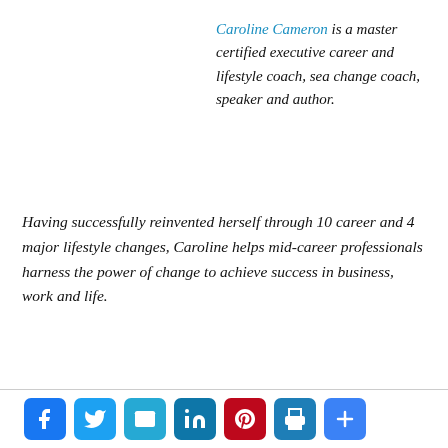Caroline Cameron is a master certified executive career and lifestyle coach, sea change coach, speaker and author.
Having successfully reinvented herself through 10 career and 4 major lifestyle changes, Caroline helps mid-career professionals harness the power of change to achieve success in business, work and life.
[Figure (infographic): Social sharing icons: Facebook, Twitter, Email, LinkedIn, Pinterest, Print, Plus/More]